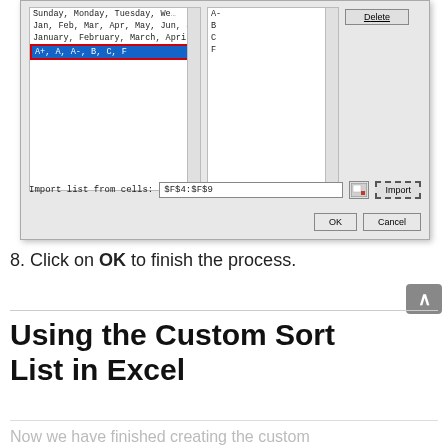[Figure (screenshot): Excel Custom Lists dialog screenshot showing list panel with 'A+, A, A-, B, C, F' selected in blue with red border, mid panel with A/B/C/F items, Delete button, Import list from cells field showing '$F$4:$F$9', Import button, and OK/Cancel buttons.]
8. Click on OK to finish the process.
Using the Custom Sort List in Excel
Now we have finished creating the custom